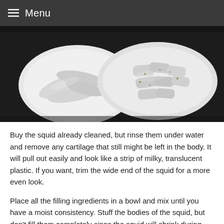Menu
[Figure (photo): Two white plates on a dark surface, each containing cleaned squid bodies. The left plate has flat squid pieces, and the right plate has stuffed or folded squid pieces garnished with herbs.]
Buy the squid already cleaned, but rinse them under water and remove any cartilage that still might be left in the body. It will pull out easily and look like a strip of milky, translucent plastic. If you want, trim the wide end of the squid for a more even look.
Place all the filling ingredients in a bowl and mix until you have a moist consistency. Stuff the bodies of the squid, but don't fill them completely since the squid will shrink during cooking.